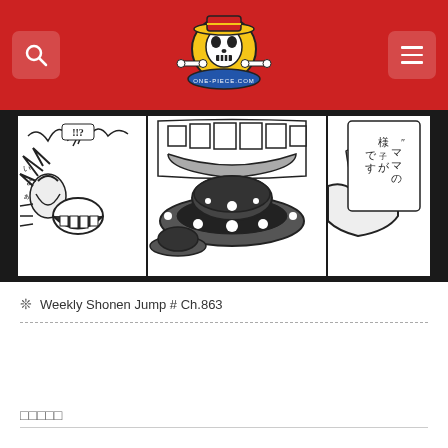One Piece.com — site header with search and menu buttons
[Figure (illustration): One Piece manga panels showing characters in black and white with Japanese text including '!!?' speech bubble and 'ママの様子がです' text]
❊  Weekly Shonen Jump # Ch.863
Starving for Entertainment
Reading the names of the stars for the anime-original 'Marine Ro